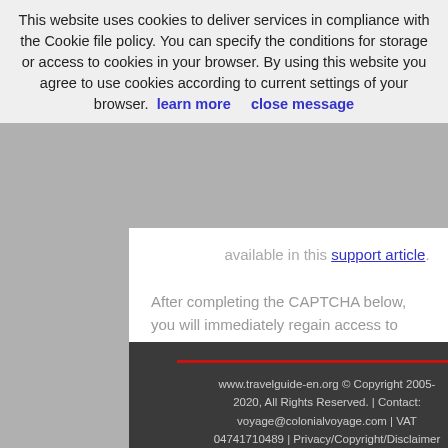This website uses cookies to deliver services in compliance with the Cookie file policy. You can specify the conditions for storage or access to cookies in your browser. By using this website you agree to use cookies according to current settings of your browser. learn more   close message
available in this support article.
After completing the CAPTCHA below, you will immediately regain access to the site again.
www.travelguide-en.org © Copyright 2005-2020, All Rights Reserved. | Contact: voyage@colonialvoyage.com | VAT 04741710489 | Privacy/Copyright/Disclaimer